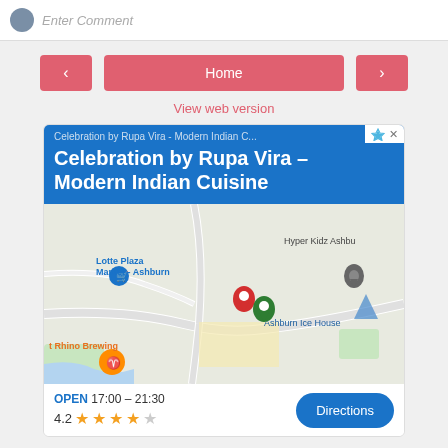[Figure (screenshot): Top bar with user avatar and Enter Comment input field]
[Figure (screenshot): Navigation buttons: left arrow, Home button, right arrow]
View web version
[Figure (map): Google Maps ad for Celebration by Rupa Vira - Modern Indian Cuisine showing map with pins for Lotte Plaza Market Ashburn, Ashburn Ice House, Hyper Kidz Ashburn, Rhino Brewing. OPEN 17:00 - 21:30, rating 4.2 stars, Directions button]
Powered by Blogger.